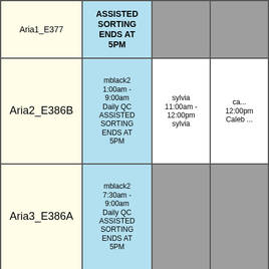| Name | Col2 | Col3 | Col4 |
| --- | --- | --- | --- |
| Aria1_E377 | ASSISTED SORTING ENDS AT 5PM |  |  |
| Aria2_E386B | mblack2 1:00am - 9:00am Daily QC ASSISTED SORTING ENDS AT 5PM | sylvia 11:00am - 12:00pm sylvia | ca... 12:00pm Caleb ... |
| Aria3_E386A | mblack2 7:30am - 9:00am Daily QC ASSISTED SORTING ENDS AT 5PM |  |  |
| Aurora |  | tingha 10:30am - 12:30pm Anna (Moltke) |  |
|  |  | mfontana |  |